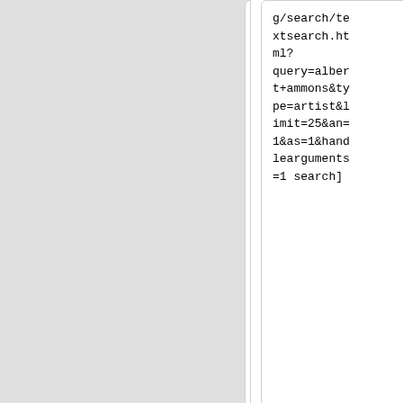g/search/textsearch.html?query=albert+ammons&type=artist&limit=25&an=1&as=1&handlearguments=1 search]
g/search/textsearch.html?query=albert+ammons&type=artist&limit=25&an=1&as=1&handlearguments=1 search]
* Benny Goodman [http://musicbrainz.org/newsearch.html?limit=0&table=artist&search=Benny+Goodman search]